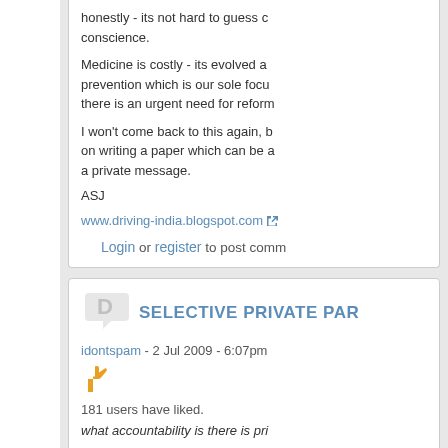honestly - its not hard to guess conscience.
Medicine is costly - its evolved a prevention which is our sole focus there is an urgent need for reform
I won't come back to this again, b on writing a paper which can be a private message.
ASJ
www.driving-india.blogspot.com
Login or register to post comm
SELECTIVE PRIVATE PAR
idontspam - 2 Jul 2009 - 6:07pm
181 users have liked.
what accountability is there is pri
Who is enforcing accountability? being taken to task?